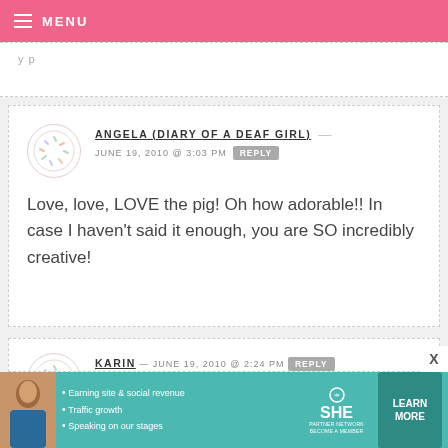MENU
y p
ANGELA (DIARY OF A DEAF GIRL) — JUNE 19, 2010 @ 3:03 PM REPLY
Love, love, LOVE the pig! Oh how adorable!! In case I haven't said it enough, you are SO incredibly creative!
KARIN — JUNE 19, 2010 @ 2:24 PM REPLY
Oh my gosh! These are amazing! They
[Figure (screenshot): Ad banner for SHE Partner Network featuring bullet points: Earning site & social revenue, Traffic growth, Speaking on our stages, with LEARN MORE button]